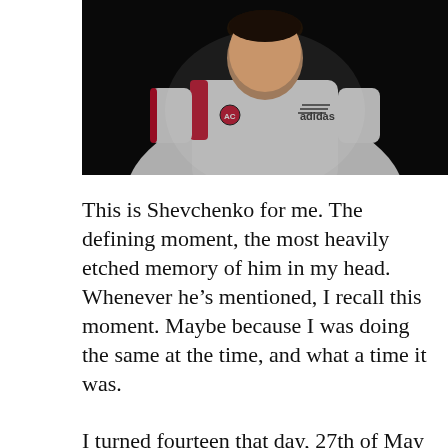[Figure (photo): A soccer player in a white AC Milan jersey with Adidas branding and the AC Milan club crest, photographed in low light during a match]
This is Shevchenko for me. The defining moment, the most heavily etched memory of him in my head. Whenever he's mentioned, I recall this moment. Maybe because I was doing the same at the time, and what a time it was.
I turned fourteen that day, 27th of May 2003. Relatives came to visit during the day and the night was spent out with friends. I had every reason to be excited at the time. First of all, it was my birthday, turning 14, meaning that from September I'd be in High School, all